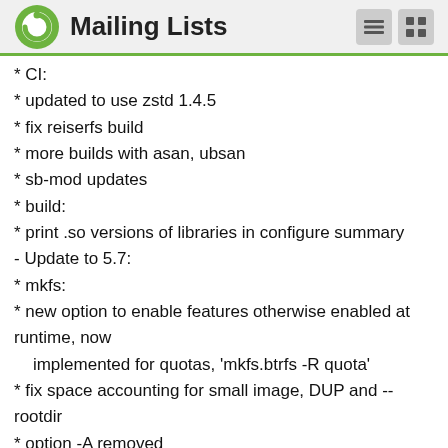Mailing Lists
* CI:
* updated to use zstd 1.4.5
* fix reiserfs build
* more builds with asan, ubsan
* sb-mod updates
* build:
* print .so versions of libraries in configure summary
- Update to 5.7:
* mkfs:
* new option to enable features otherwise enabled at runtime, now implemented for quotas, 'mkfs.btrfs -R quota'
* fix space accounting for small image, DUP and --rootdir
* option -A removed
* check: detect ranges with overlapping csum items